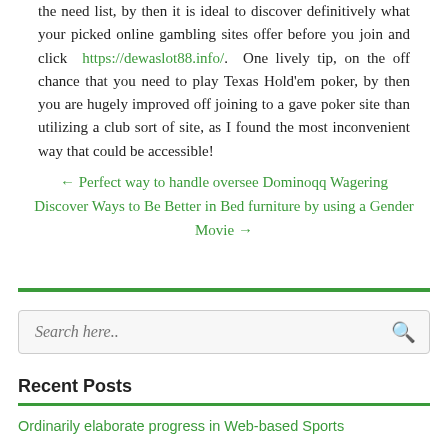the need list, by then it is ideal to discover definitively what your picked online gambling sites offer before you join and click https://dewaslot88.info/. One lively tip, on the off chance that you need to play Texas Hold'em poker, by then you are hugely improved off joining to a gave poker site than utilizing a club sort of site, as I found the most inconvenient way that could be accessible!
← Perfect way to handle oversee Dominoqq Wagering
Discover Ways to Be Better in Bed furniture by using a Gender Movie →
Search here..
Recent Posts
Ordinarily elaborate progress in Web-based Sports